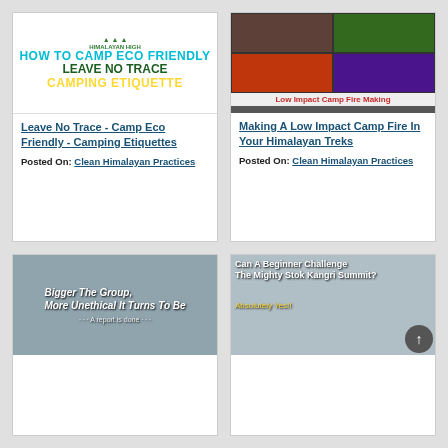[Figure (illustration): Eco camping poster with text: HOW TO CAMP ECO FRIENDLY, LEAVE NO TRACE, CAMPING ETIQUETTE]
Leave No Trace - Camp Eco Friendly - Camping Etiquettes
Posted On: Clean Himalayan Practices
[Figure (photo): Collage of four campfire photos with caption: Low Impact Camp Fire Making]
Making A Low Impact Camp Fire In Your Himalayan Treks
Posted On: Clean Himalayan Practices
[Figure (photo): Mountain landscape with text overlay: Bigger The Group, More Unethical It Turns To Be]
[Figure (photo): Mountain climbers with text overlay: Can A Beginner Challenge The Mighty Stok Kangri Summit? Absolutely Yes!!]